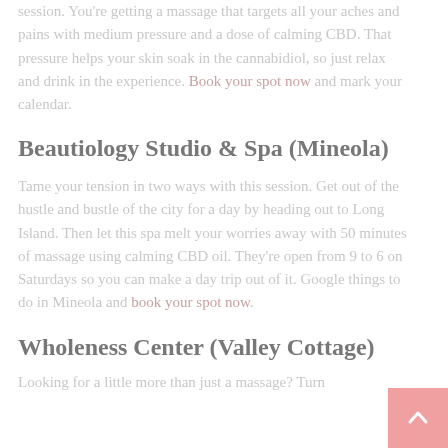session. You're getting a massage that targets all your aches and pains with medium pressure and a dose of calming CBD. That pressure helps your skin soak in the cannabidiol, so just relax and drink in the experience. Book your spot now and mark your calendar.
Beautiology Studio & Spa (Mineola)
Tame your tension in two ways with this session. Get out of the hustle and bustle of the city for a day by heading out to Long Island. Then let this spa melt your worries away with 50 minutes of massage using calming CBD oil. They're open from 9 to 6 on Saturdays so you can make a day trip out of it. Google things to do in Mineola and book your spot now.
Wholeness Center (Valley Cottage)
Looking for a little more than just a massage? Turn